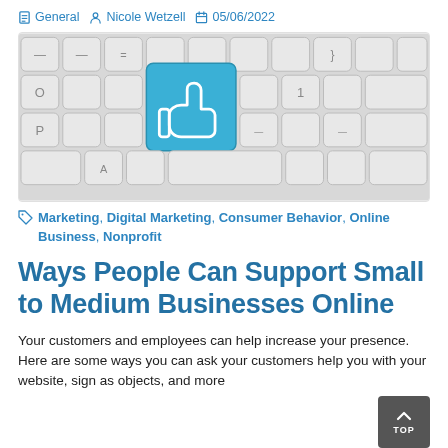General  Nicole Wetzell  05/06/2022
[Figure (photo): Close-up photo of a white keyboard with a blue key featuring a thumbs-up (like) icon in the center.]
Marketing, Digital Marketing, Consumer Behavior, Online Business, Nonprofit
Ways People Can Support Small to Medium Businesses Online
Your customers and employees can help increase your presence. Here are some ways you can ask your customers help you with your website, sign as objects, and more